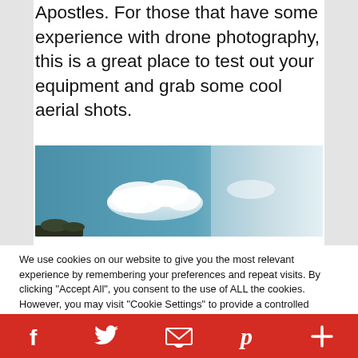Apostles. For those that have some experience with drone photography, this is a great place to test out your equipment and grab some cool aerial shots.
[Figure (photo): Aerial/drone photo showing a blue sky with white clouds and a partial view of landscape at the bottom edge.]
We use cookies on our website to give you the most relevant experience by remembering your preferences and repeat visits. By clicking "Accept All", you consent to the use of ALL the cookies. However, you may visit "Cookie Settings" to provide a controlled consent.
Social sharing bar with Facebook, Twitter, Email, Pinterest, and More icons